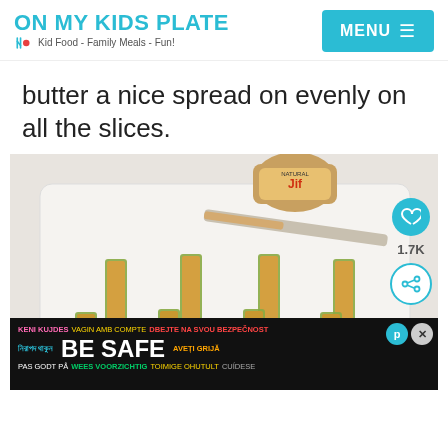ON MY KIDS PLATE | Kid Food - Family Meals - Fun! | MENU
butter a nice spread on evenly on all the slices.
[Figure (photo): A white plate with bread sticks spread with peanut butter arranged in rows, a butter knife resting on the plate, and a jar of Jif Natural peanut butter in the background.]
KENI KUJDES VAGIN AMB COMPTE DBEJTE NA SVOU BEZPEČNOST নিরাপদ থাকুন BE SAFE AVEȚI GRIJĂ PAS GODT PÅ WEES VOORZICHTIG TOIMIGE OHUTULT CUÍDESE